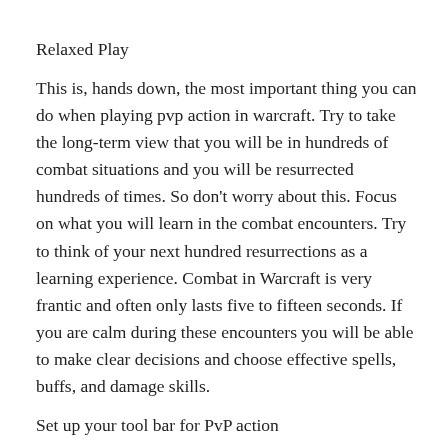Relaxed Play
This is, hands down, the most important thing you can do when playing pvp action in warcraft. Try to take the long-term view that you will be in hundreds of combat situations and you will be resurrected hundreds of times. So don’t worry about this. Focus on what you will learn in the combat encounters. Try to think of your next hundred resurrections as a learning experience. Combat in Warcraft is very frantic and often only lasts five to fifteen seconds. If you are calm during these encounters you will be able to make clear decisions and choose effective spells, buffs, and damage skills.
Set up your tool bar for PvP action
Player versus player action is much different than normal